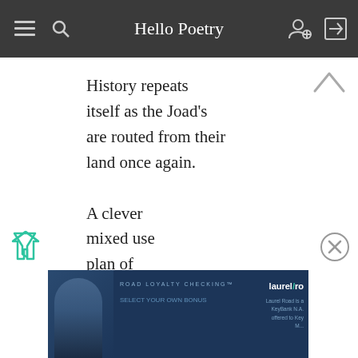Hello Poetry
History repeats
itself as the Joad’s
are routed from their
land once again.

A clever
mixed use
plan of
condos and
strip malls
is proposed
to finally help the
National Mall
[Figure (screenshot): Advertisement banner with dark blue background showing 'ROAD LOYALTY CHECKING' text and 'laurel/ro' branding with person photo]